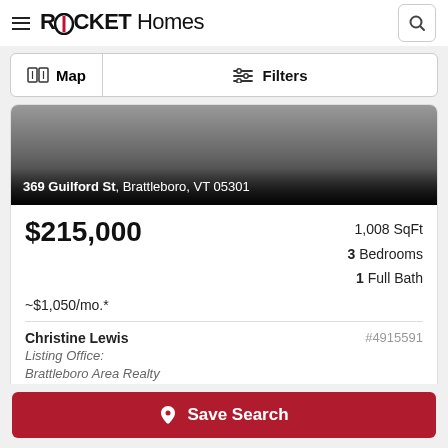ROCKET Homes
Map | Filters
[Figure (photo): Property exterior photo with gradient overlay showing address: 369 Guilford St, Brattleboro, VT 05301]
$215,000
1,008 SqFt
3 Bedrooms
1 Full Bath
~$1,050/mo.*
Christine Lewis
Listing Office:
Brattleboro Area Realty
#4915591
Save Search